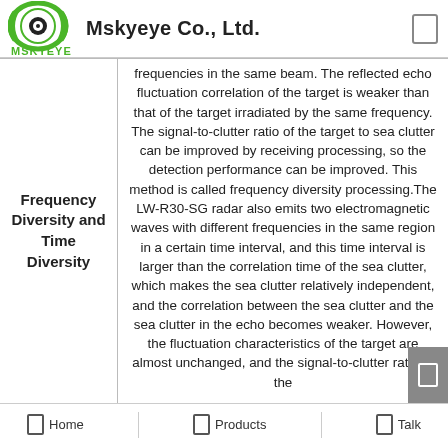Mskyeye Co., Ltd.
Frequency Diversity and Time Diversity
frequencies in the same beam. The reflected echo fluctuation correlation of the target is weaker than that of the target irradiated by the same frequency. The signal-to-clutter ratio of the target to sea clutter can be improved by receiving processing, so the detection performance can be improved. This method is called frequency diversity processing.The LW-R30-SG radar also emits two electromagnetic waves with different frequencies in the same region in a certain time interval, and this time interval is larger than the correlation time of the sea clutter, which makes the sea clutter relatively independent, and the correlation between the sea clutter and the sea clutter in the echo becomes weaker. However, the fluctuation characteristics of the target are almost unchanged, and the signal-to-clutter ratio of the
Home | Products | Talk